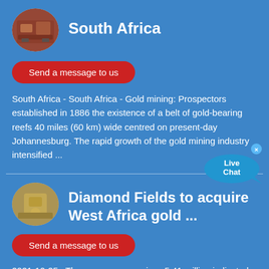[Figure (photo): Oval thumbnail photo of mining equipment/machinery in red tones]
South Africa
Send a message to us
South Africa - South Africa - Gold mining: Prospectors established in 1886 the existence of a belt of gold-bearing reefs 40 miles (60 km) wide centred on present-day Johannesburg. The rapid growth of the gold mining industry intensified ...
[Figure (illustration): Live Chat speech bubble widget with 'Live Chat' text]
[Figure (photo): Oval thumbnail photo of yellow mining/crushing machinery]
Diamond Fields to acquire West Africa gold ...
Send a message to us
2021-10-25 · The resource comprises 5.41 million indicated tonnes grading on average 1.52 gram per tonne gold for 264,000oz, and